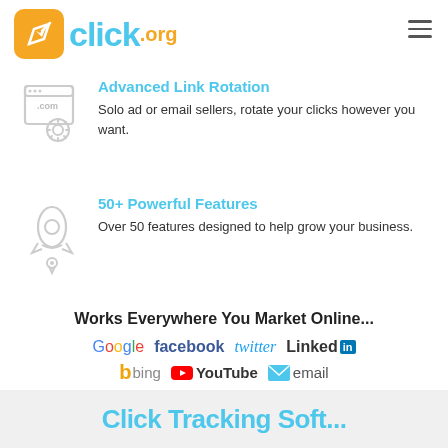[Figure (logo): Click.org logo with orange/yellow rounded square icon with white arrow, and 'click' in blue text and '.org' in orange text]
Advanced Link Rotation
Solo ad or email sellers, rotate your clicks however you want.
[Figure (illustration): Gray outline icon of a rocket ship]
50+ Powerful Features
Over 50 features designed to help grow your business.
Works Everywhere You Market Online...
[Figure (infographic): Brand logos: Google, facebook, twitter, LinkedIn, bing, YouTube, email]
Click Tracking Soft...